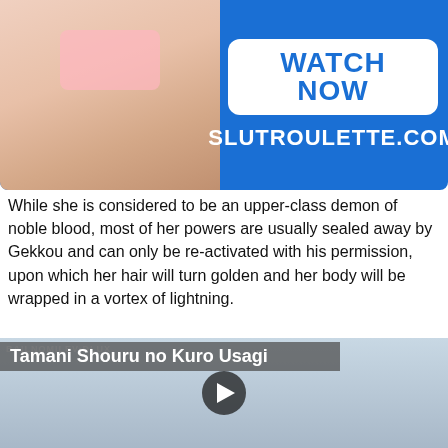[Figure (other): Advertisement banner with blue background showing a photo on the left and 'WATCH NOW / SLUTROULETTE.COM' text on the right]
While she is considered to be an upper-class demon of noble blood, most of her powers are usually sealed away by Gekkou and can only be re-activated with his permission, upon which her hair will turn golden and her body will be wrapped in a vortex of lightning.
[Figure (illustration): Video thumbnail showing anime illustration labeled 'Tamani Shouru no Kuro Usagi' with a play button overlay]